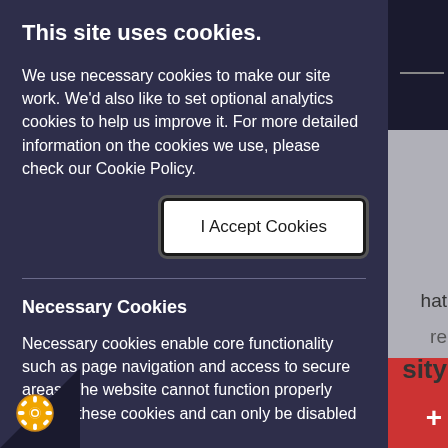This site uses cookies.
We use necessary cookies to make our site work. We'd also like to set optional analytics cookies to help us improve it. For more detailed information on the cookies we use, please check our Cookie Policy.
[Figure (other): Button labeled 'I Accept Cookies' with white background and dark border]
Necessary Cookies
Necessary cookies enable core functionality such as page navigation and access to secure areas. The website cannot function properly without these cookies and can only be disabled by